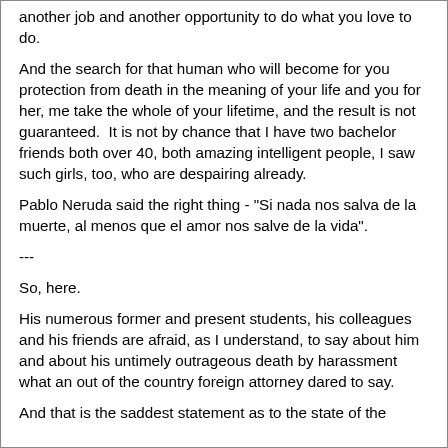another job and another opportunity to do what you love to do.
And the search for that human who will become for you protection from death in the meaning of your life and you for her, me take the whole of your lifetime, and the result is not guaranteed.  It is not by chance that I have two bachelor friends both over 40, both amazing intelligent people, I saw such girls, too, who are despairing already.
Pablo Neruda said the right thing - "Si nada nos salva de la muerte, al menos que el amor nos salve de la vida".
---
So, here.
His numerous former and present students, his colleagues and his friends are afraid, as I understand, to say about him and about his untimely outrageous death by harassment what an out of the country foreign attorney dared to say.
And that is the saddest statement as to the state of the